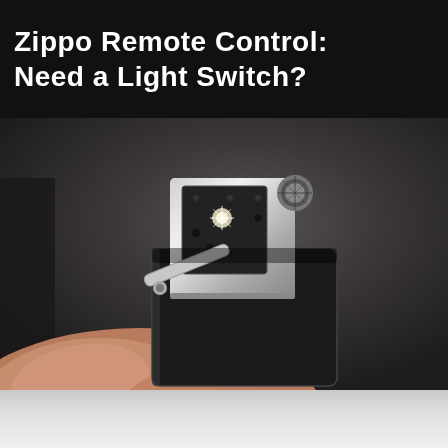Zippo Remote Control:
Need a Light Switch?
[Figure (photo): Close-up photograph of a hand holding an open Zippo lighter against a dark grey background. The lighter is open, showing the internal chrome insert mechanism with the flint wheel visible. The lighter's outer case is black.]